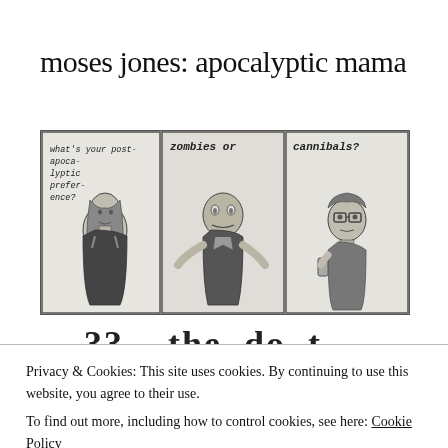moses jones: apocalyptic mama
[Figure (illustration): A three-panel hand-drawn comic strip. Panel 1: A woman with long hair, text reads 'what's your post-apoca-lyptic preference'. Panel 2: A zombie-like figure in a suit, text reads 'zombies or'. Panel 3: A person with glasses holding something, text reads 'cannibals?']
Privacy & Cookies: This site uses cookies. By continuing to use this website, you agree to their use.
To find out more, including how to control cookies, see here: Cookie Policy
[Figure (illustration): Partial view of another comic panel at the bottom, showing handwritten text 'that everything is going to be okay. but it's' with some geometric shapes visible.]